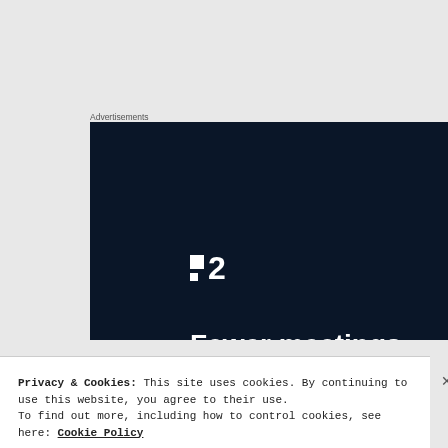Advertisements
[Figure (illustration): Advertisement banner with dark navy background. Shows a logo consisting of two white squares/dots and the number '2', followed by bold white text reading 'Fewer meetings, more work.']
Privacy & Cookies: This site uses cookies. By continuing to use this website, you agree to their use.
To find out more, including how to control cookies, see here: Cookie Policy
Close and accept